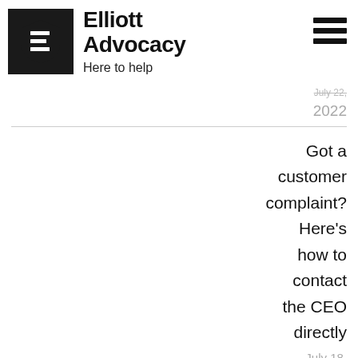Elliott Advocacy — Here to help
July 22, 2022
Got a customer complaint? Here's how to contact the CEO directly
July 18, 2022
What should I do if an airline loses my checked